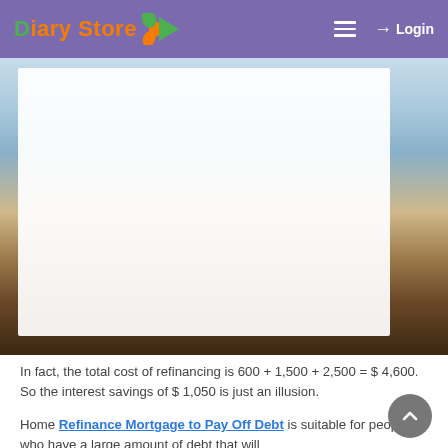Diary Store — Login
[Figure (photo): Hero image showing a landscape with sky and mountains/hills, with a white content panel overlay on the left side]
In fact, the total cost of refinancing is 600 + 1,500 + 2,500 = $ 4,600. So the interest savings of $ 1,050 is just an illusion.
Home Refinance Mortgage to Pay Off Debt is suitable for people who have a large amount of debt that will